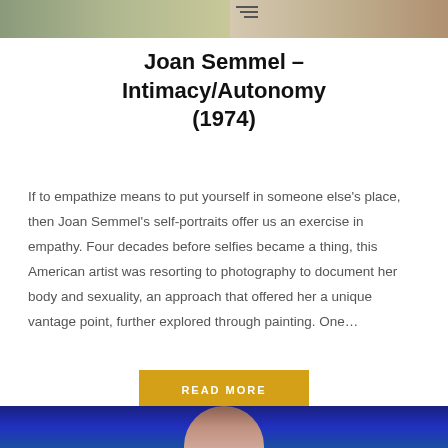[Figure (photo): Top portion of an artwork/photo strip showing a greenish landscape or figure on the left and warm toned image on the right, with a small menu icon overlay]
Joan Semmel – Intimacy/Autonomy (1974)
If to empathize means to put yourself in someone else's place, then Joan Semmel's self-portraits offer us an exercise in empathy. Four decades before selfies became a thing, this American artist was resorting to photography to document her body and sexuality, an approach that offered her a unique vantage point, further explored through painting. One…
[Figure (other): Yellow/gold 'READ MORE' button]
[Figure (photo): Bottom strip showing a blue background with a partial face/portrait visible at center bottom]